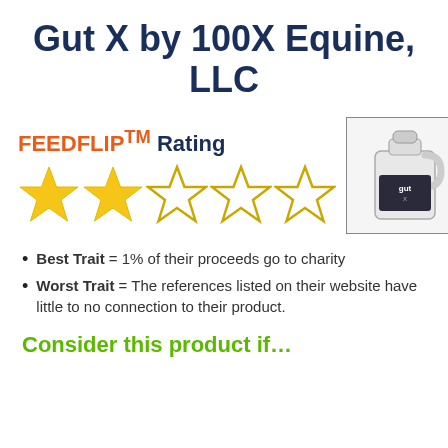Gut X by 100X Equine, LLC
FEEDFLIP™ Rating
[Figure (other): Star rating showing 2 out of 5 stars (2 filled gold stars, 3 empty outline stars)]
[Figure (photo): Product photo of a large white plastic jug/container labeled Gut X]
Best Trait = 1% of their proceeds go to charity
Worst Trait = The references listed on their website have little to no connection to their product.
Consider this product if…